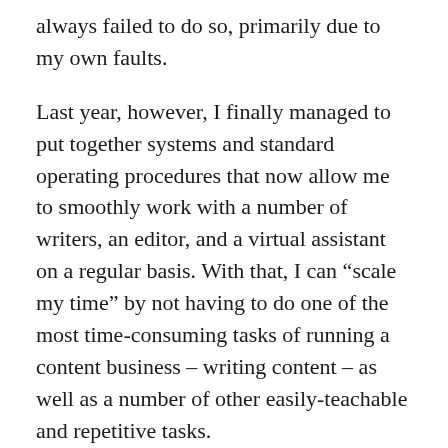always failed to do so, primarily due to my own faults.
Last year, however, I finally managed to put together systems and standard operating procedures that now allow me to smoothly work with a number of writers, an editor, and a virtual assistant on a regular basis. With that, I can “scale my time” by not having to do one of the most time-consuming tasks of running a content business – writing content – as well as a number of other easily-teachable and repetitive tasks.
A lot of the success I finally had with outsourcing can be attributed to The E-Myth Revisited book which talks a lot about building systems, a number of blogs and YouTube channels that gave